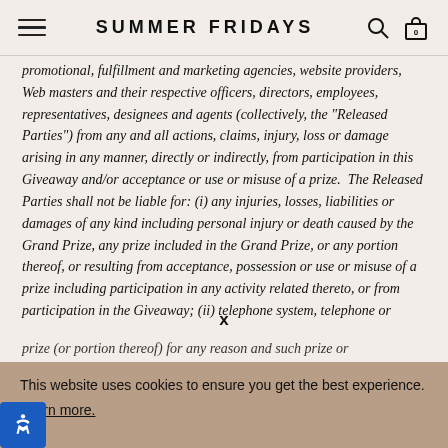SUMMER FRIDAYS
promotional, fulfillment and marketing agencies, website providers, Web masters and their respective officers, directors, employees, representatives, designees and agents (collectively, the "Released Parties") from any and all actions, claims, injury, loss or damage arising in any manner, directly or indirectly, from participation in this Giveaway and/or acceptance or use or misuse of a prize.  The Released Parties shall not be liable for: (i) any injuries, losses, liabilities or damages of any kind including personal injury or death caused by the Grand Prize, any prize included in the Grand Prize, or any portion thereof, or resulting from acceptance, possession or use or misuse of a prize including participation in any activity related thereto, or from participation in the Giveaway; (ii) telephone system, telephone or
This website uses cookies to ensure you get the best experience. Learn more.
x
prize (or portion thereof) for any reason and such prize or